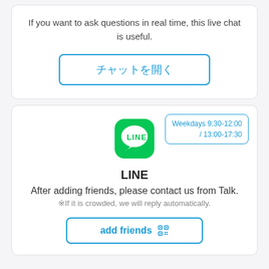If you want to ask questions in real time, this live chat is useful.
チャットを開く
Weekdays 9:30-12:00 / 13:00-17:30
[Figure (logo): LINE app logo: blue rounded square with white LINE speech bubble icon]
LINE
After adding friends, please contact us from Talk.
※If it is crowded, we will reply automatically.
add friends